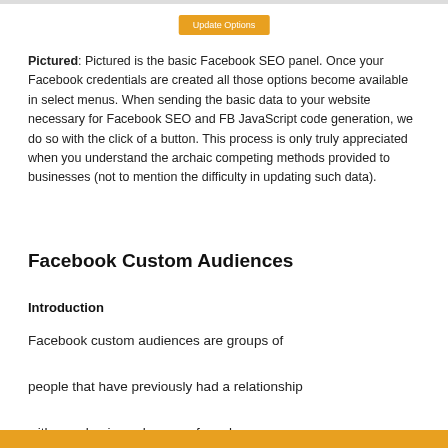[Figure (screenshot): Orange 'Update Options' button on white background at top of page]
Pictured: Pictured is the basic Facebook SEO panel. Once your Facebook credentials are created all those options become available in select menus. When sending the basic data to your website necessary for Facebook SEO and FB JavaScript code generation, we do so with the click of a button. This process is only truly appreciated when you understand the archaic competing methods provided to businesses (not to mention the difficulty in updating such data).
Facebook Custom Audiences
Introduction
Facebook custom audiences are groups of people that have previously had a relationship with your business by way of a sale...